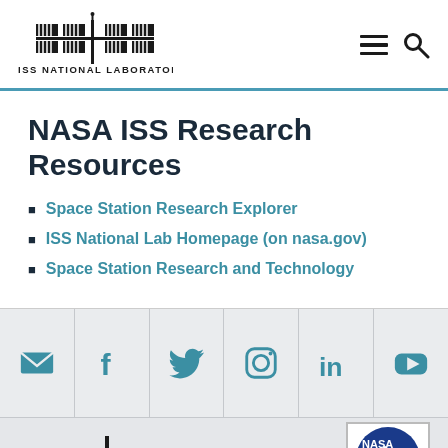[Figure (logo): ISS National Laboratory logo with space station graphic and text 'ISS NATIONAL LABORATORY']
NASA ISS Research Resources
Space Station Research Explorer
ISS National Lab Homepage (on nasa.gov)
Space Station Research and Technology
[Figure (infographic): Social media icons row: email, Facebook, Twitter, Instagram, LinkedIn, YouTube]
[Figure (logo): ISS National Laboratory footer logo and NASA badge]